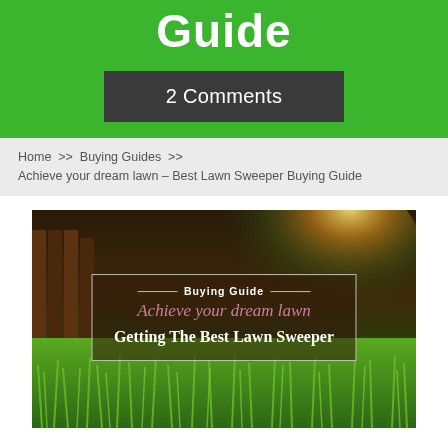Guide
2 Comments
Home >> Buying Guides >> Achieve your dream lawn – Best Lawn Sweeper Buying Guide
[Figure (photo): Lawn sweeper buying guide hero image showing lush green grass with sunlight, overlaid with a decorative box containing 'Buying Guide', 'Achieve your dream lawn' in script, and 'Getting The Best Lawn Sweeper' in bold white text.]